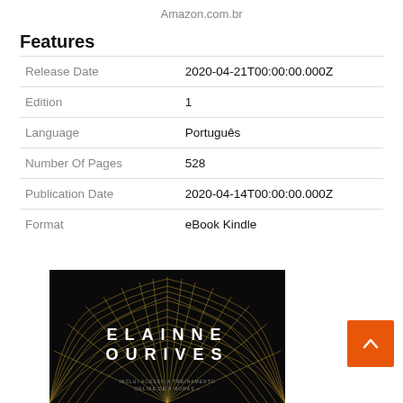Amazon.com.br
Features
| Release Date | 2020-04-21T00:00:00.000Z |
| Edition | 1 |
| Language | Português |
| Number Of Pages | 528 |
| Publication Date | 2020-04-14T00:00:00.000Z |
| Format | eBook Kindle |
[Figure (photo): Book cover showing 'ELAINNE OURIVES' text in gold letters on a black background with gold wave/line design patterns]